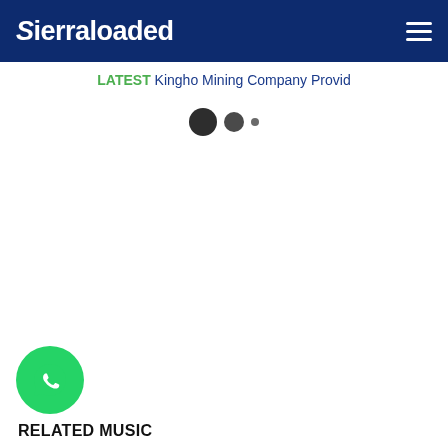Sierraloaded
LATEST Kingho Mining Company Provid
[Figure (other): Loading indicator with three dots of decreasing size]
[Figure (other): WhatsApp contact button (green circular icon with phone handset)]
RELATED MUSIC